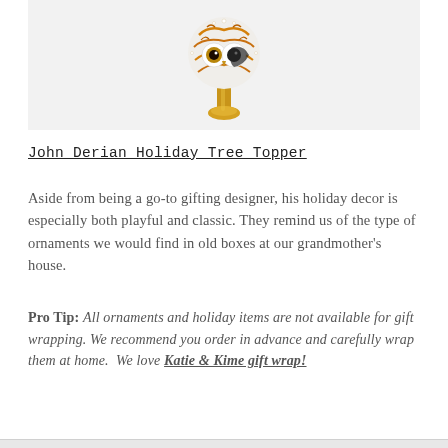[Figure (photo): An owl-shaped holiday tree topper with a white and orange decorative sphere head and a gold stem/base, displayed against a light gray background.]
John Derian Holiday Tree Topper
Aside from being a go-to gifting designer, his holiday decor is especially both playful and classic. They remind us of the type of ornaments we would find in old boxes at our grandmother's house.
Pro Tip: All ornaments and holiday items are not available for gift wrapping. We recommend you order in advance and carefully wrap them at home.  We love Katie & Kime gift wrap!